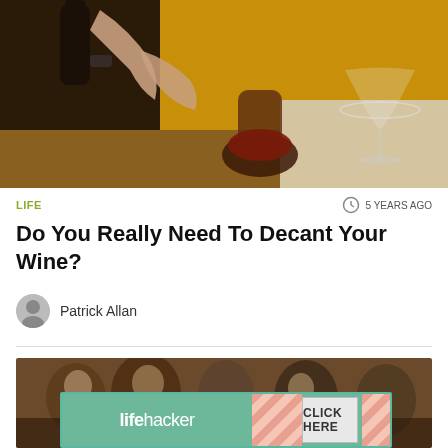[Figure (photo): Person pouring red wine from a bottle into a glass decanter on a table, with an empty wine glass in the background on a yellow-lit surface]
LIFE
5 YEARS AGO
Do You Really Need To Decant Your Wine?
Patrick Allan
[Figure (photo): Background photo of people at what appears to be a sports or public event, blurred]
[Figure (other): Lifehacker advertisement banner with logo on left and CLICK HERE button on right, teal border with diagonal stripe pattern]